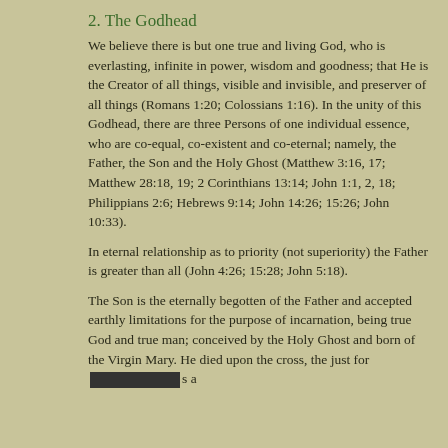2. The Godhead
We believe there is but one true and living God, who is everlasting, infinite in power, wisdom and goodness; that He is the Creator of all things, visible and invisible, and preserver of all things (Romans 1:20; Colossians 1:16).  In the unity of this Godhead, there are three Persons of one individual essence, who are co-equal, co-existent and co-eternal; namely, the Father, the Son and the Holy Ghost (Matthew 3:16, 17; Matthew 28:18, 19; 2 Corinthians 13:14; John 1:1, 2, 18; Philippians 2:6; Hebrews 9:14; John 14:26; 15:26; John 10:33).
In eternal relationship as to priority (not superiority) the Father is greater than all (John 4:26; 15:28; John 5:18).
The Son is the eternally begotten of the Father and accepted earthly limitations for the purpose of incarnation, being true God and true man; conceived by the Holy Ghost and born of the Virgin Mary.  He died upon the cross, the just for [obscured] s a